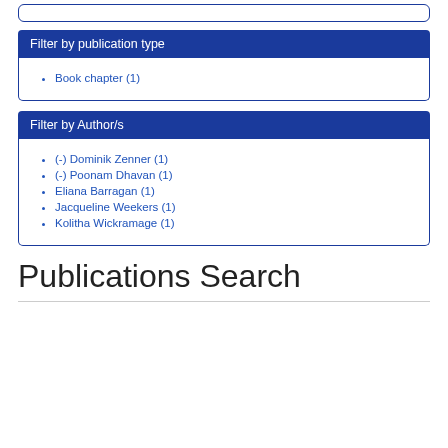Filter by publication type
Book chapter (1)
Filter by Author/s
(-) Dominik Zenner (1)
(-) Poonam Dhavan (1)
Eliana Barragan (1)
Jacqueline Weekers (1)
Kolitha Wickramage (1)
Publications Search